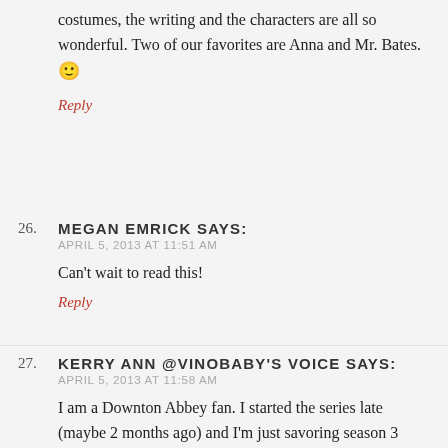costumes, the writing and the characters are all so wonderful. Two of our favorites are Anna and Mr. Bates. 🙂
Reply
26. MEGAN EMRICK SAYS:
APRIL 5, 2013 AT 11:51 AM
Can't wait to read this!
Reply
27. KERRY ANN @VINOBABY'S VOICE SAYS:
APRIL 5, 2013 AT 11:58 AM
I am a Downton Abbey fan. I started the series late (maybe 2 months ago) and I'm just savoring season 3 now–WHILE reading Wendy's new book. Absolutely perfect read after losing myself in the Crowley's world!